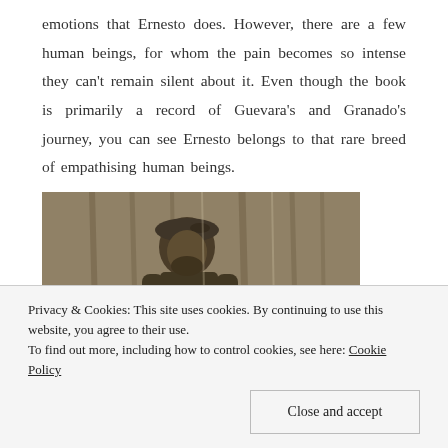emotions that Ernesto does. However, there are a few human beings, for whom the pain becomes so intense they can't remain silent about it. Even though the book is primarily a record of Guevara's and Granado's journey, you can see Ernesto belongs to that rare breed of empathising human beings.
[Figure (photo): Black and white sepia photograph of a man with a beard wearing a beret and military-style clothing, standing in front of trees/forest background. Appears to be Che Guevara.]
Privacy & Cookies: This site uses cookies. By continuing to use this website, you agree to their use. To find out more, including how to control cookies, see here: Cookie Policy